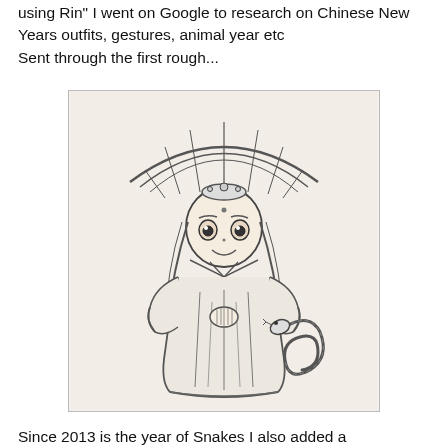using Rin" I went on Google to research on Chinese New Years outfits, gestures, animal year etc
Sent through the first rough...
[Figure (illustration): Pencil sketch of a chibi-style girl in Chinese traditional clothing with an elaborate fan headdress and long braids, holding her hands together in prayer gesture. A coiled snake with detailed scales is depicted beside her on the right.]
Since 2013 is the year of Snakes I also added a